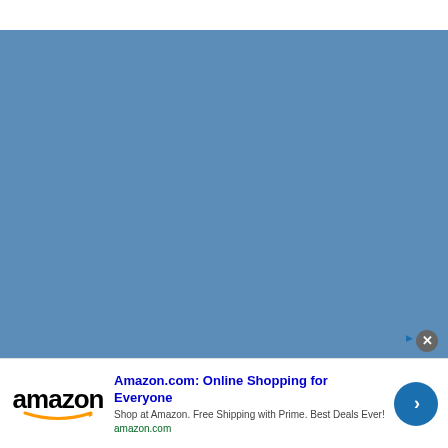[Figure (other): Large blue rectangular area filling most of the page, representing a webpage background or image placeholder with a steel blue color (#5b8db8).]
Amazon.com: Online Shopping for Everyone
Shop at Amazon. Free Shipping with Prime. Best Deals Ever!
amazon.com